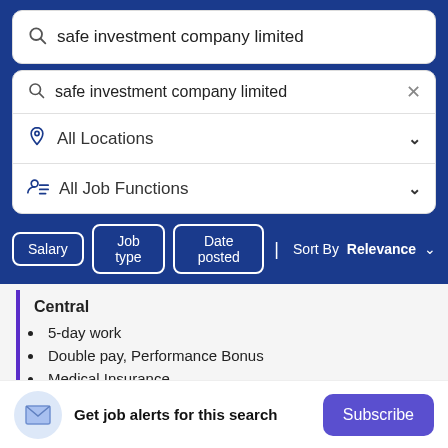[Figure (screenshot): Job search interface screenshot showing search bar with 'safe investment company limited', dropdown with location and job function filters, filter buttons for Salary, Job type, Date posted, Sort By Relevance, and a job listing with bullet points and a subscribe bar at the bottom.]
safe investment company limited
safe investment company limited
All Locations
All Job Functions
Salary
Job type
Date posted
Sort By Relevance
Central
5-day work
Double pay, Performance Bonus
Medical Insurance
1d ago
Get job alerts for this search
Subscribe